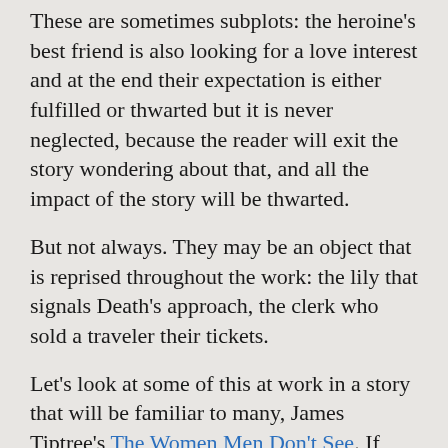These are sometimes subplots: the heroine's best friend is also looking for a love interest and at the end their expectation is either fulfilled or thwarted but it is never neglected, because the reader will exit the story wondering about that, and all the impact of the story will be thwarted.
But not always. They may be an object that is reprised throughout the work: the lily that signals Death's approach, the clerk who sold a traveler their tickets.
Let's look at some of this at work in a story that will be familiar to many, James Tiptree's The Women Men Don't See. If you are not familiar with the story, I advise reading it beforehand.
This is the ending. My comments appear in parentheses.